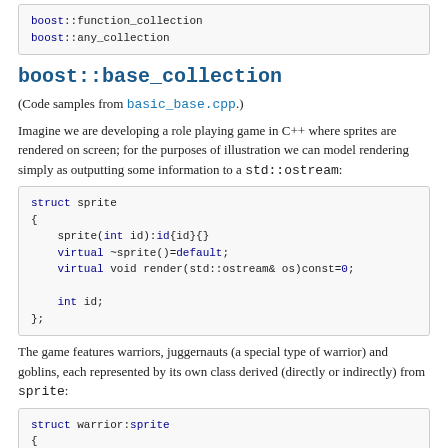boost::function_collection
boost::any_collection
boost::base_collection
(Code samples from basic_base.cpp.)
Imagine we are developing a role playing game in C++ where sprites are rendered on screen; for the purposes of illustration we can model rendering simply as outputting some information to a std::ostream:
struct sprite
{
    sprite(int id):id{id}{}
    virtual ~sprite()=default;
    virtual void render(std::ostream& os)const=0;

    int id;
};
The game features warriors, juggernauts (a special type of warrior) and goblins, each represented by its own class derived (directly or indirectly) from sprite:
struct warrior:sprite
{